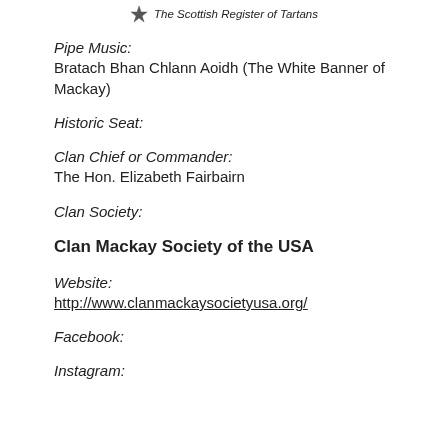The Scottish Register of Tartans
Pipe Music:
Bratach Bhan Chlann Aoidh (The White Banner of Mackay)
Historic Seat:
Clan Chief or Commander:
The Hon. Elizabeth Fairbairn
Clan Society:
Clan Mackay Society of the USA
Website:
http://www.clanmackaysocietyusa.org/
Facebook:
Instagram: